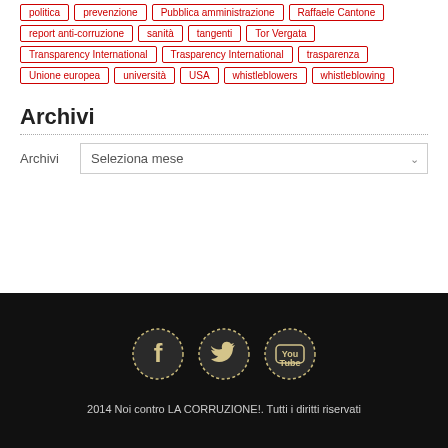politica
prevenzione
Pubblica amministrazione
Raffaele Cantone
report anti-corruzione
sanità
tangenti
Tor Vergata
Transparency International
Trasparency International
trasparenza
Unione europea
università
USA
whistleblowers
whistleblowing
Archivi
Archivi  Seleziona mese
[Figure (logo): Social media icons: Facebook, Twitter, YouTube in circular dark frames with dashed borders on black background]
2014 Noi contro LA CORRUZIONE!. Tutti i diritti riservati